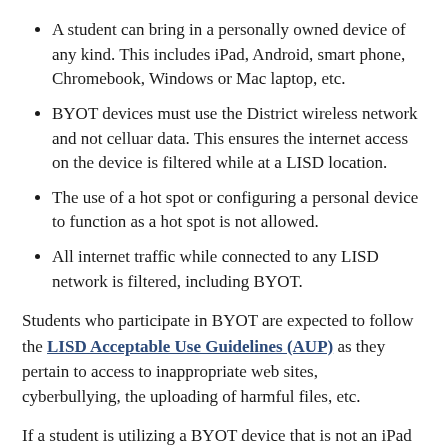A student can bring in a personally owned device of any kind. This includes iPad, Android, smart phone, Chromebook, Windows or Mac laptop, etc.
BYOT devices must use the District wireless network and not celluar data. This ensures the internet access on the device is filtered while at a LISD location.
The use of a hot spot or configuring a personal device to function as a hot spot is not allowed.
All internet traffic while connected to any LISD network is filtered, including BYOT.
Students who participate in BYOT are expected to follow the LISD Acceptable Use Guidelines (AUP) as they pertain to access to inappropriate web sites, cyberbullying, the uploading of harmful files, etc.
If a student is utilizing a BYOT device that is not an iPad in lieu of accepting a District provided device, please make your student's teachers aware so they can plan work